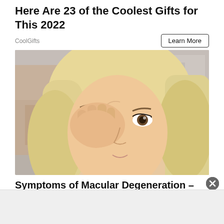Here Are 23 of the Coolest Gifts for This 2022
CoolGifts
[Figure (photo): A blonde woman rubbing or touching her eye with her hand, looking distressed, outdoors with blurred background]
Symptoms of Macular Degeneration –